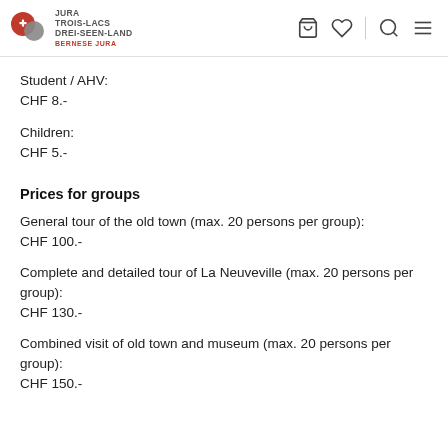JURA TROIS-LACS DREI-SEEN-LAND BERNESE JURA
Student / AHV:
CHF 8.-
Children:
CHF 5.-
Prices for groups
General tour of the old town (max. 20 persons per group):
CHF 100.-
Complete and detailed tour of La Neuveville (max. 20 persons per group):
CHF 130.-
Combined visit of old town and museum (max. 20 persons per group):
CHF 150.-